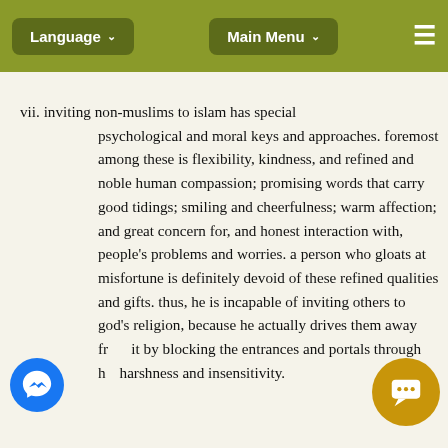Language ▾   Main Menu ▾   ☰
vii. inviting non-muslims to islam has special psychological and moral keys and approaches. foremost among these is flexibility, kindness, and refined and noble human compassion; promising words that carry good tidings; smiling and cheerfulness; warm affection; and great concern for, and honest interaction with, people's problems and worries. a person who gloats at misfortune is definitely devoid of these refined qualities and gifts. thus, he is incapable of inviting others to god's religion, because he actually drives them away from it by blocking the entrances and portals through his harshness and insensitivity.